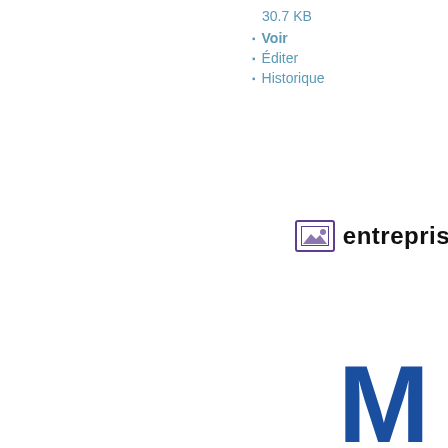30.7 KB
Voir
Éditer
Historique
[Figure (logo): Image placeholder icon followed by partial text 'entrepris' (cut off at right edge)]
[Figure (logo): Partial large blue letter M logo visible at bottom-right corner]